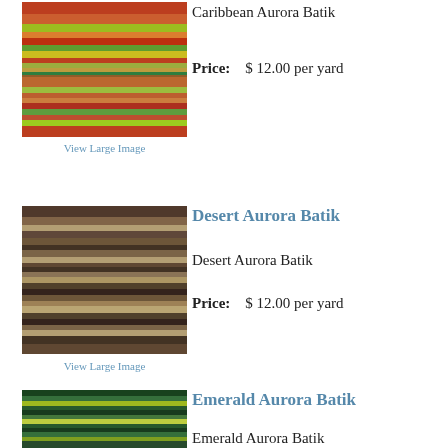[Figure (photo): Caribbean Aurora Batik fabric — colorful horizontal stripes in red, green, yellow, orange]
Caribbean Aurora Batik
Price: $ 12.00 per yard
View Large Image
Desert Aurora Batik
[Figure (photo): Desert Aurora Batik fabric — brown, tan and dark layered horizontal stripes]
Desert Aurora Batik
Price: $ 12.00 per yard
View Large Image
Emerald Aurora Batik
[Figure (photo): Emerald Aurora Batik fabric — deep green with yellow-green highlights, horizontal texture]
Emerald Aurora Batik